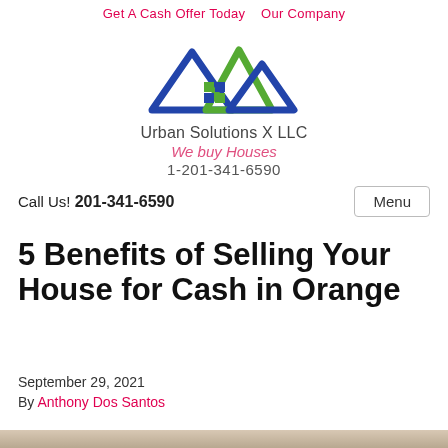Get A Cash Offer Today   Our Company
[Figure (logo): Urban Solutions X LLC logo with blue and green mountain/house shapes above the company name]
Urban Solutions X LLC
We buy Houses
1-201-341-6590
Call Us! 201-341-6590
Menu
5 Benefits of Selling Your House for Cash in Orange
September 29, 2021
By Anthony Dos Santos
[Figure (photo): Partial photo at bottom of page showing a person holding cash]